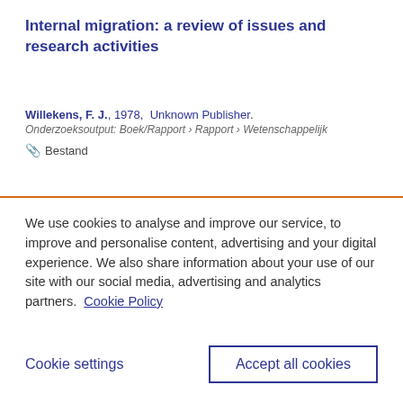Internal migration: a review of issues and research activities
Willekens, F. J., 1978, Unknown Publisher.
Onderzoeksoutput: Boek/Rapport › Rapport › Wetenschappelijk
Bestand
We use cookies to analyse and improve our service, to improve and personalise content, advertising and your digital experience. We also share information about your use of our site with our social media, advertising and analytics partners.  Cookie Policy
Cookie settings
Accept all cookies